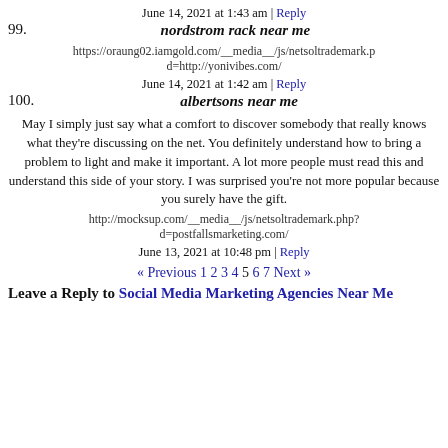June 14, 2021 at 1:43 am | Reply
99. nordstrom rack near me
https://oraung02.iamgold.com/__media__/js/netsoltrademark.p d=http://yonivibes.com/
June 14, 2021 at 1:42 am | Reply
100. albertsons near me
May I simply just say what a comfort to discover somebody that really knows what they're discussing on the net. You definitely understand how to bring a problem to light and make it important. A lot more people must read this and understand this side of your story. I was surprised you're not more popular because you surely have the gift.
http://mocksup.com/__media__/js/netsoltrademark.php? d=postfallsmarketing.com/
June 13, 2021 at 10:48 pm | Reply
« Previous 1 2 3 4 5 6 7 Next »
Leave a Reply to Social Media Marketing Agencies Near Me